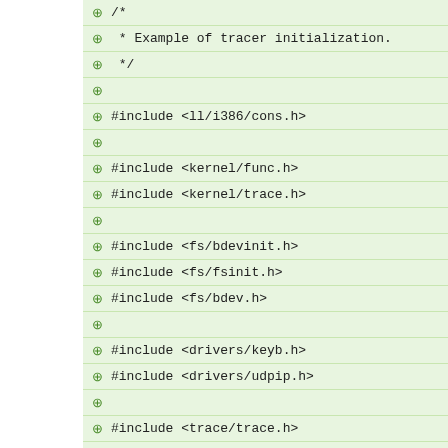/* * Example of tracer initialization. */ #include <ll/i386/cons.h> #include <kernel/func.h> #include <kernel/trace.h> #include <fs/bdevinit.h> #include <fs/fsinit.h> #include <fs/bdev.h> #include <drivers/keyb.h> #include <drivers/udpip.h> #include <trace/trace.h> #include <trace/queues.h> #include <sys/mount.h> #include <stddef.h> #include <string.h> char myipaddr[15], toipaddr[15];